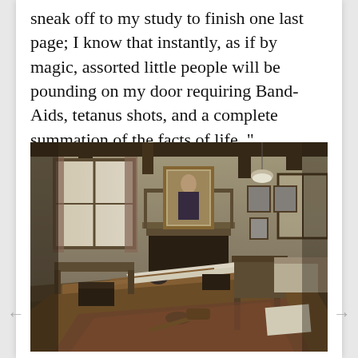sneak off to my study to finish one last page; I know that instantly, as if by magic, assorted little people will be pounding on my door requiring Band-Aids, tetanus shots, and a complete summation of the facts of life. "
[Figure (photo): Black and white / desaturated photograph of a writer's study room with a large wooden desk in the foreground covered with papers and desk items, a fireplace in the background center with a portrait hanging above it, a window on the left letting in light, wooden ceiling beams, a chair beside the desk, and a rug on the floor.]